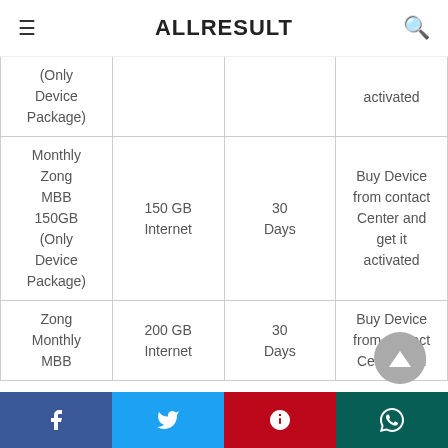ALLRESULT
| Package | Volume | Validity | Activation |
| --- | --- | --- | --- |
| (Only Device Package) |  |  | activated |
| Monthly Zong MBB 150GB (Only Device Package) | 150 GB Internet | 30 Days | Buy Device from contact Center and get it activated |
| Zong Monthly MBB | 200 GB Internet | 30 Days | Buy Device from contact Center and |
Facebook Twitter Pinterest WhatsApp